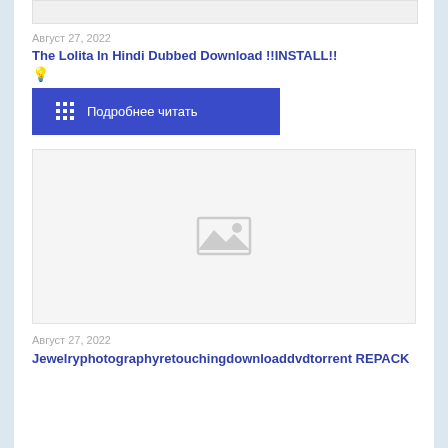[Figure (other): Top truncated image placeholder, light grey background]
Август 27, 2022
The Lolita In Hindi Dubbed Download !!INSTALL!! 💡
Подробнее читать
[Figure (photo): Image placeholder with grey mountain/photo icon in center on light grey background]
Август 27, 2022
Jewelryphotographyretouchingdownloaddvdtorrent REPACK